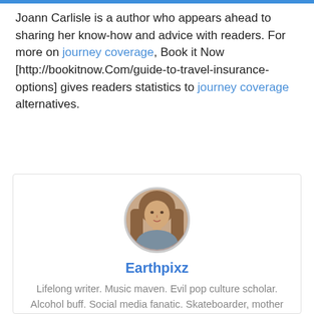Joann Carlisle is a author who appears ahead to sharing her know-how and advice with readers. For more on journey coverage, Book it Now [http://bookitnow.Com/guide-to-travel-insurance-options] gives readers statistics to journey coverage alternatives.
[Figure (photo): Circular profile photo of a young woman with long blonde hair wearing a grey top, used as author avatar.]
Earthpixz
Lifelong writer. Music maven. Evil pop culture scholar. Alcohol buff. Social media fanatic. Skateboarder, mother of 2, drummer, reclaimed